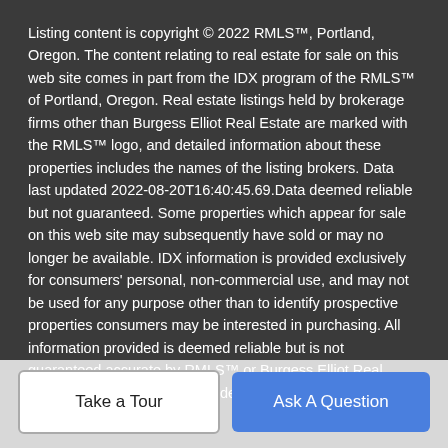Listing content is copyright © 2022 RMLS™, Portland, Oregon. The content relating to real estate for sale on this web site comes in part from the IDX program of the RMLS™ of Portland, Oregon. Real estate listings held by brokerage firms other than Burgess Elliot Real Estate are marked with the RMLS™ logo, and detailed information about these properties includes the names of the listing brokers. Data last updated 2022-08-20T16:40:45.69.Data deemed reliable but not guaranteed. Some properties which appear for sale on this web site may subsequently have sold or may no longer be available. IDX information is provided exclusively for consumers' personal, non-commercial use, and may not be used for any purpose other than to identify prospective properties consumers may be interested in purchasing. All information provided is deemed reliable but is not guaranteed accurate by RMLS™ or Burgess Elliot Real Estate and should be independently verified.
Take a Tour
Ask A Question